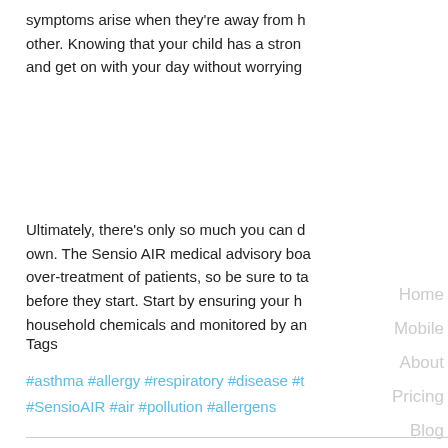symptoms arise when they're away from home or each other. Knowing that your child has a strong immune system and get on with your day without worrying.
Ultimately, there's only so much you can do on your own. The Sensio AIR medical advisory board are concerned about over-treatment of patients, so be sure to tackle problems before they start. Start by ensuring your home is free from household chemicals and monitored by an air quality sensor.
Tags
#asthma #allergy #respiratory #disease #t #SensioAIR #air #pollution #allergens